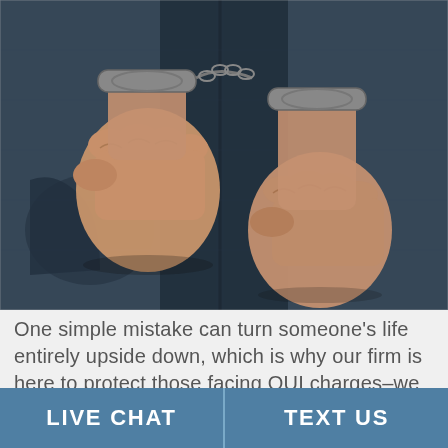[Figure (photo): Close-up photograph of a person's hands handcuffed behind their back, wearing blue jeans. The hands are clenched into fists. Handcuffs are visible on both wrists connected by a chain.]
One simple mistake can turn someone's life entirely upside down, which is why our firm is here to protect those facing OUI charges–we believe in second chances. If you are someone who has been
LIVE CHAT
TEXT US